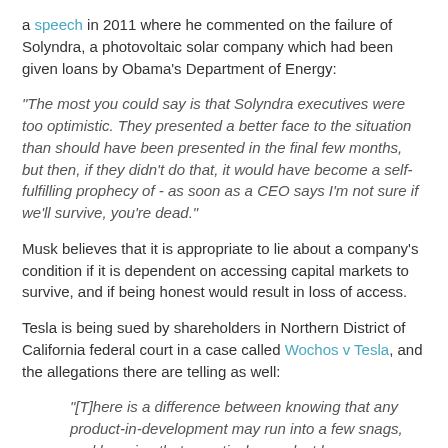a speech in 2011 where he commented on the failure of Solyndra, a photovoltaic solar company which had been given loans by Obama's Department of Energy:
"The most you could say is that Solyndra executives were too optimistic. They presented a better face to the situation than should have been presented in the final few months, but then, if they didn't do that, it would have become a self-fulfilling prophecy of - as soon as a CEO says I'm not sure if we'll survive, you're dead."
Musk believes that it is appropriate to lie about a company's condition if it is dependent on accessing capital markets to survive, and if being honest would result in loss of access.
Tesla is being sued by shareholders in Northern District of California federal court in a case called Wochos v Tesla, and the allegations there are telling as well:
"[T]here is a difference between knowing that any product-in-development may run into a few snags, and knowing that a particular product has